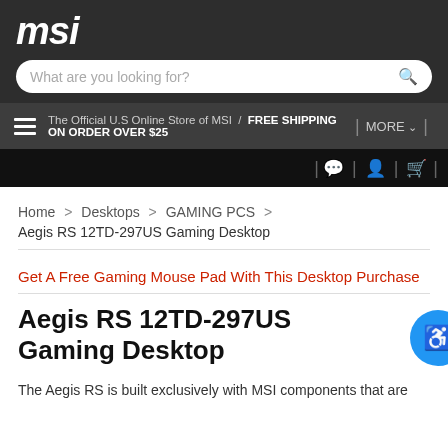msi
What are you looking for?
The Official U.S Online Store of MSI / FREE SHIPPING ON ORDER OVER $25
MORE
Home > Desktops > GAMING PCS > Aegis RS 12TD-297US Gaming Desktop
Get A Free Gaming Mouse Pad With This Desktop Purchase
Aegis RS 12TD-297US Gaming Desktop
The Aegis RS is built exclusively with MSI components that are